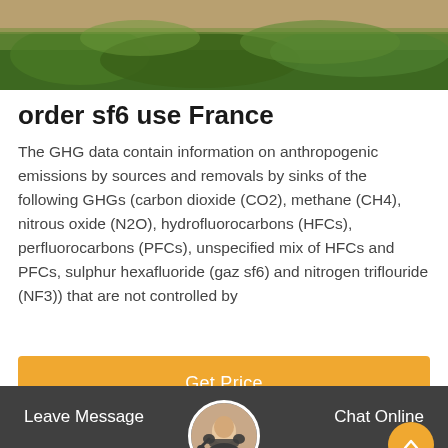[Figure (photo): Top portion showing outdoor scene with grass/vegetation and ground, greenish-brown tones]
order sf6 use France
The GHG data contain information on anthropogenic emissions by sources and removals by sinks of the following GHGs (carbon dioxide (CO2), methane (CH4), nitrous oxide (N2O), hydrofluorocarbons (HFCs), perfluorocarbons (PFCs), unspecified mix of HFCs and PFCs, sulphur hexafluoride (gaz sf6) and nitrogen triflouride (NF3)) that are not controlled by
[Figure (other): Orange 'Get Price' button]
[Figure (photo): Bottom image section showing light background with customer service representative circular avatar and scroll-to-top orange button]
Leave Message   Chat Online